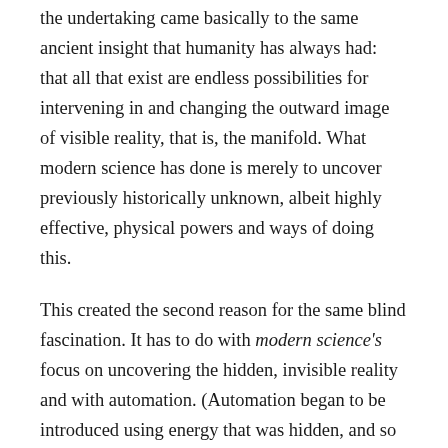the undertaking came basically to the same ancient insight that humanity has always had: that all that exist are endless possibilities for intervening in and changing the outward image of visible reality, that is, the manifold. What modern science has done is merely to uncover previously historically unknown, albeit highly effective, physical powers and ways of doing this.
This created the second reason for the same blind fascination. It has to do with modern science's focus on uncovering the hidden, invisible reality and with automation. (Automation began to be introduced using energy that was hidden, and so it was regarded in the beginning as mystical. Generally knowable energies such as water-power and wind-power had already been used technically.) Together modern science and